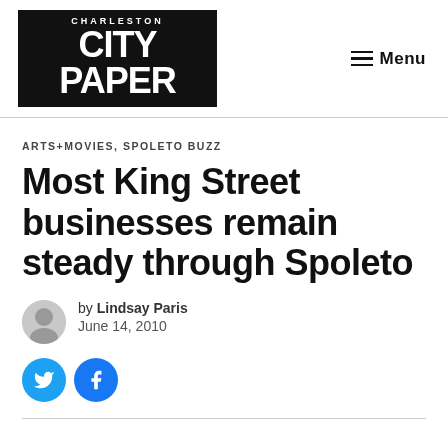CHARLESTON CITY PAPER | Menu
ARTS+MOVIES, SPOLETO BUZZ
Most King Street businesses remain steady through Spoleto
by Lindsay Paris
June 14, 2010